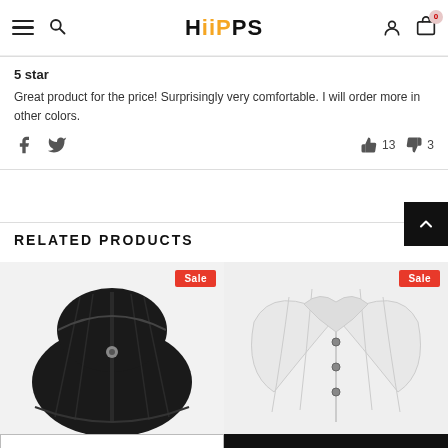HiiPPS — navigation header with hamburger menu, search, logo, user icon, cart (0)
5 star
Great product for the price! Surprisingly very comfortable. I will order more in other colors.
Social share icons (Facebook, Twitter) and vote counts: thumbs up 13, thumbs down 3
RELATED PRODUCTS
[Figure (photo): Black leather corset product image with Sale badge]
[Figure (photo): White/silver satin corset product image with Sale badge]
S / Green - $27.00
ADD TO CART